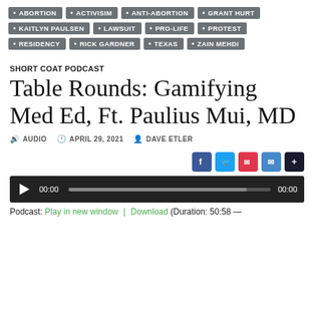ABORTION
ACTIVISIM
ANTI-ABORTION
GRANT HURT
KAITLYN PAULSEN
LAWSUIT
PRO-LIFE
PROTEST
RESIDENCY
RICK GARDNER
TEXAS
ZAIN MEHDI
SHORT COAT PODCAST
Table Rounds: Gamifying Med Ed, Ft. Paulius Mui, MD
AUDIO   APRIL 29, 2021   DAVE ETLER
[Figure (screenshot): Social share buttons: Facebook (blue), Twitter (light blue), Pocket (red), Email (blue), Add (dark)]
[Figure (screenshot): Audio player with play button, 00:00 timestamp, progress bar, and 00:00 end time]
Podcast: Play in new window | Download (Duration: 50:58 —